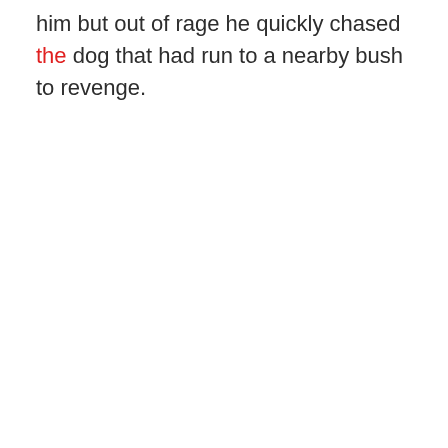him but out of rage he quickly chased the dog that had run to a nearby bush to revenge.